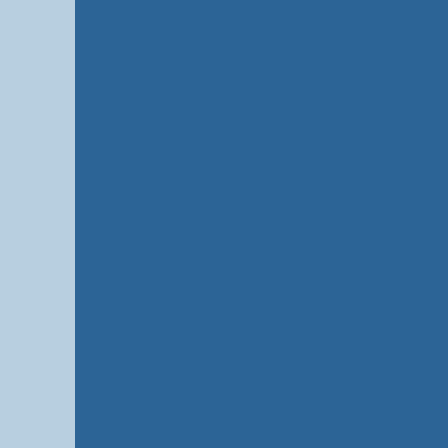St. Coletta of Wisconsi
St. Coletta of Wisconsi
St. Croix Chippewa Co
St. Croix Electric (Co-o
St. Croix Hospice Delav
St. Croix Manor - Presc
St. Croix Manor Apartm
St. Croix Tribe Veterans
St. Dominic's - Northsid
St. Elizabeth's Hospital
St. Florian Parish Hatle
St. Francis Apartments
St. Francis Cabrini Chu
St. Francis Community
St. Francis Terrace - RC